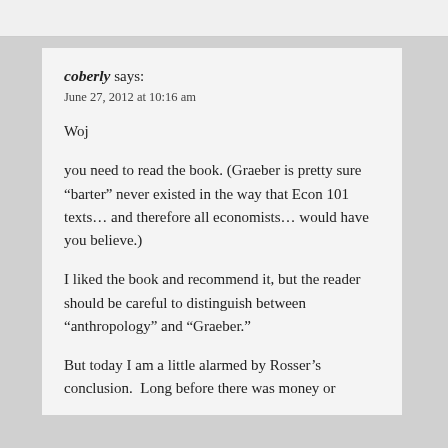coberly says:
June 27, 2012 at 10:16 am
Woj
you need to read the book. (Graeber is pretty sure “barter” never existed in the way that Econ 101 texts… and therefore all economists… would have you believe.)
I liked the book and recommend it, but the reader should be careful to distinguish between “anthropology” and “Graeber.”
But today I am a little alarmed by Rosser’s conclusion.  Long before there was money or